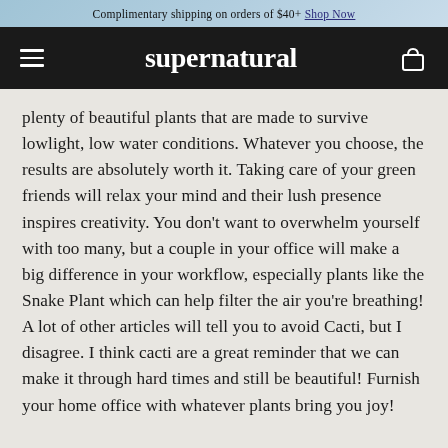Complimentary shipping on orders of $40+ Shop Now
supernatural (navigation bar with menu and cart icons)
plenty of beautiful plants that are made to survive lowlight, low water conditions. Whatever you choose, the results are absolutely worth it. Taking care of your green friends will relax your mind and their lush presence inspires creativity. You don't want to overwhelm yourself with too many, but a couple in your office will make a big difference in your workflow, especially plants like the Snake Plant which can help filter the air you're breathing! A lot of other articles will tell you to avoid Cacti, but I disagree. I think cacti are a great reminder that we can make it through hard times and still be beautiful! Furnish your home office with whatever plants bring you joy!